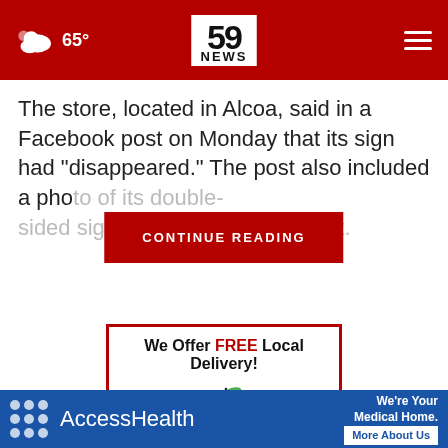65° | 59 NEWS
The store, located in Alcoa, said in a Facebook post on Monday that its sign had "disappeared." The post also included a pho[to] of its double-sided sign, wh[ich] [appeared] ent[ire]
[Figure (logo): Crab Orchard Pharmacy ad with apple logo. Text: We Offer FREE Local Delivery! Crab Orchard PHARMACY]
[Figure (logo): AccessHealth advertisement banner: We're Your Medical Home. More About Us]